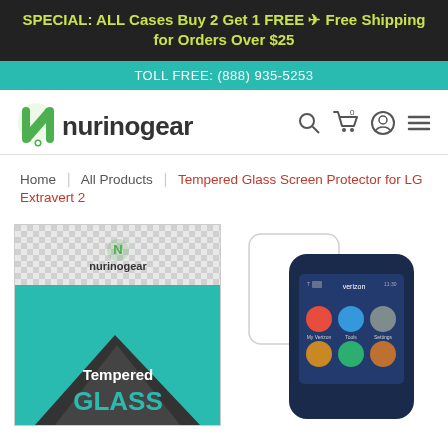SPECIAL: ALL Cases Buy 2 Get 1 FREE → Free Shipping for Orders Over $25
TOLL FREE: (888) 935-5253
[Figure (logo): Nurinogear logo with green stylized N icon and 'nurinogear' text]
Home | All Products | Tempered Glass Screen Protector for LG Extravert 2
[Figure (photo): Product packaging for Rinogear Tempered Glass screen protector and product shot of LG Extravert 2 phone with screen protector applied]